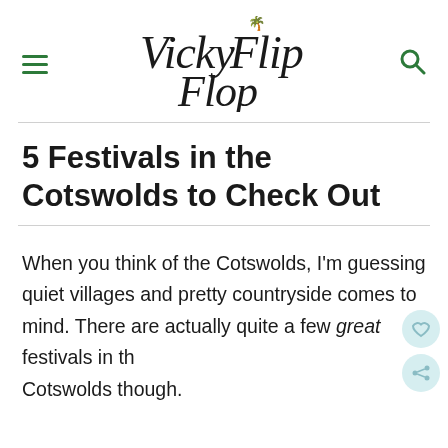Vicky Flip Flop
5 Festivals in the Cotswolds to Check Out
When you think of the Cotswolds, I'm guessing quiet villages and pretty countryside comes to mind. There are actually quite a few great festivals in the Cotswolds though.